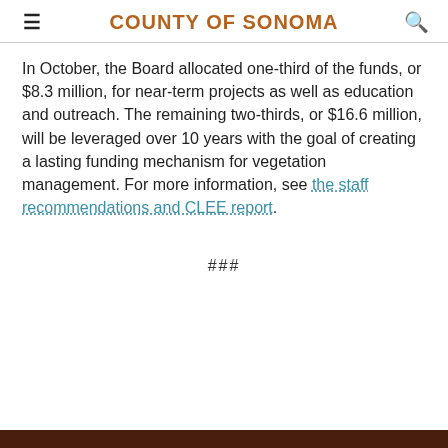COUNTY OF SONOMA
In October, the Board allocated one-third of the funds, or $8.3 million, for near-term projects as well as education and outreach. The remaining two-thirds, or $16.6 million, will be leveraged over 10 years with the goal of creating a lasting funding mechanism for vegetation management. For more information, see the staff recommendations and CLEE report.
###